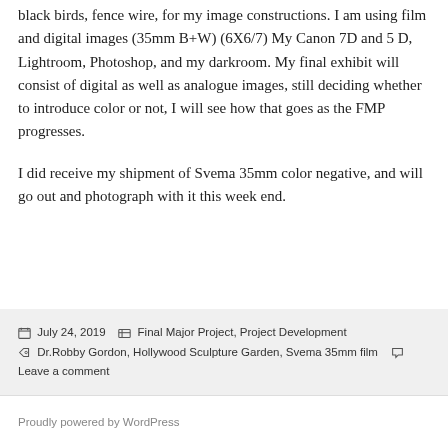black birds, fence wire, for my image constructions. I am using film and digital images (35mm B+W) (6X6/7) My Canon 7D and 5 D, Lightroom, Photoshop, and my darkroom. My final exhibit will consist of digital as well as analogue images, still deciding whether to introduce color or not, I will see how that goes as the FMP progresses.
I did receive my shipment of Svema 35mm color negative, and will go out and photograph with it this week end.
Posted on July 24, 2019  Categories Final Major Project, Project Development  Tags Dr.Robby Gordon, Hollywood Sculpture Garden, Svema 35mm film  Leave a comment
Proudly powered by WordPress